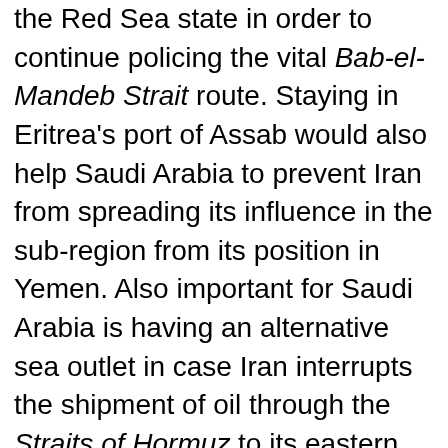the Red Sea state in order to continue policing the vital Bab-el-Mandeb Strait route. Staying in Eritrea's port of Assab would also help Saudi Arabia to prevent Iran from spreading its influence in the sub-region from its position in Yemen. Also important for Saudi Arabia is having an alternative sea outlet in case Iran interrupts the shipment of oil through the Straits of Hormuz to its eastern part.
Esayass now feels he is in a better situation than previously because of the